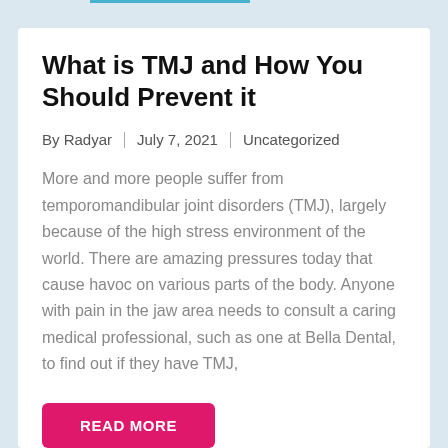What is TMJ and How You Should Prevent it
By Radyar | July 7, 2021 | Uncategorized
More and more people suffer from temporomandibular joint disorders (TMJ), largely because of the high stress environment of the world. There are amazing pressures today that cause havoc on various parts of the body. Anyone with pain in the jaw area needs to consult a caring medical professional, such as one at Bella Dental, to find out if they have TMJ,
READ MORE